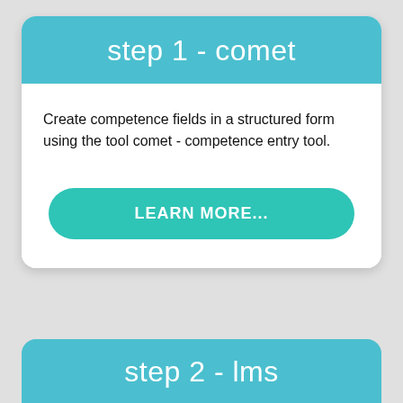step 1 - comet
Create competence fields in a structured form using the tool comet - competence entry tool.
LEARN MORE...
step 2 - lms